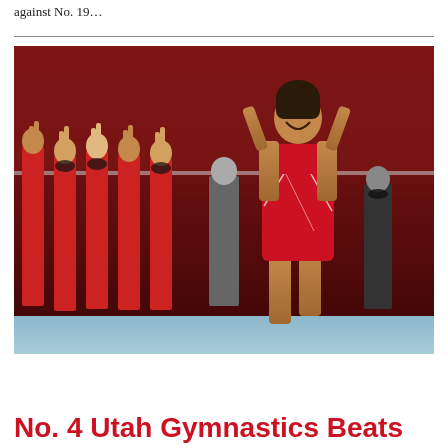against No. 19…
[Figure (photo): A Utah gymnastics athlete in a red sparkly leotard poses with hands behind her head, smiling broadly, while teammates in red leotards applaud in the background at a gymnastics meet with a crowd in the stands.]
No. 4 Utah Gymnastics Beats